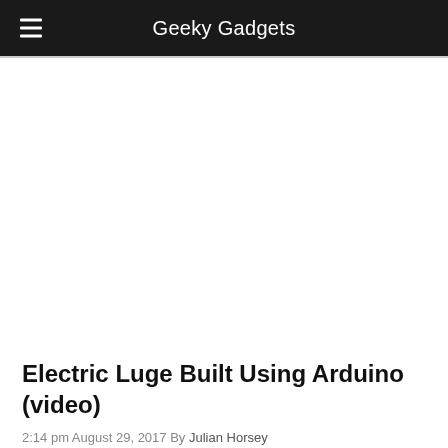Geeky Gadgets
Electric Luge Built Using Arduino (video)
2:14 pm August 29, 2017 By Julian Horsey